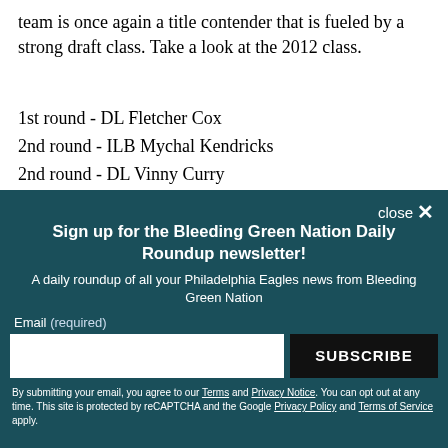team is once again a title contender that is fueled by a strong draft class. Take a look at the 2012 class.
1st round - DL Fletcher Cox
2nd round - ILB Mychal Kendricks
2nd round - DL Vinny Curry
3rd round - CB Nick Foles [partially visible]
[Figure (screenshot): Newsletter signup modal overlay with teal/dark green background. Contains close button, title 'Sign up for the Bleeding Green Nation Daily Roundup newsletter!', subtitle text, email input field, SUBSCRIBE button, and disclaimer text.]